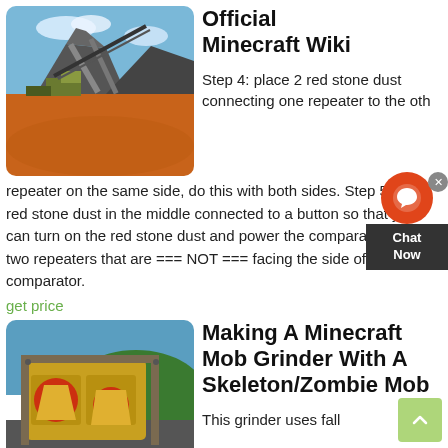[Figure (photo): Mining/quarry equipment with conveyor belts and gravel piles against a blue sky with red/orange dirt ground]
Official Minecraft Wiki
Step 4: place 2 red stone dust connecting one repeater to the other repeater on the same side, do this with both sides. Step 5: place red stone dust in the middle connected to a button so that you can turn on the red stone dust and power the comparator and the two repeaters that are === NOT === facing the side of the comparator.
get price
[Figure (photo): Large yellow crushing/mining machinery with red circular elements against a green hillside backdrop]
Making A Minecraft Mob Grinder With A Skeleton/Zombie Mob
This grinder uses fall